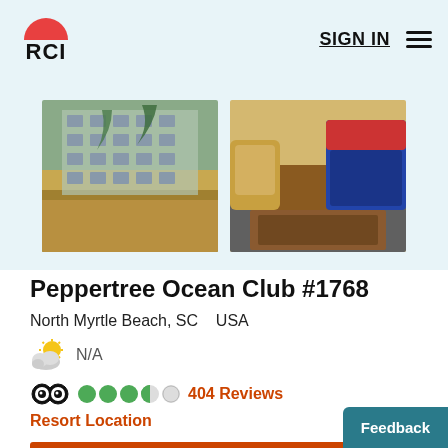RCI  SIGN IN
[Figure (photo): Two hotel/resort photos: left shows a multi-story building exterior with palm trees and marsh grass; right shows a living room interior with wicker furniture, a wooden coffee table, and patterned sofa]
Peppertree Ocean Club #1768
North Myrtle Beach, SC   USA
N/A
404 Reviews
Resort Location
SIGN IN FOR AVAILABILITY
Feedback